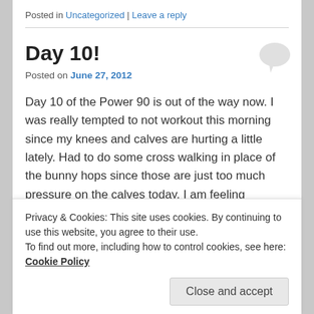Posted in Uncategorized | Leave a reply
Day 10!
Posted on June 27, 2012
Day 10 of the Power 90 is out of the way now. I was really tempted to not workout this morning since my knees and calves are hurting a little lately. Had to do some cross walking in place of the bunny hops since those are just too much pressure on the calves today. I am feeling changes happening in a lot of muscles in my body, especially in the abs. Probably not too noticeable yet, but
Privacy & Cookies: This site uses cookies. By continuing to use this website, you agree to their use.
To find out more, including how to control cookies, see here: Cookie Policy
Close and accept